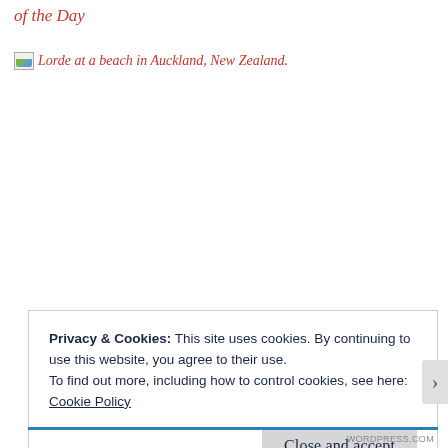of the Day
Lorde at a beach in Auckland, New Zealand.
Privacy & Cookies: This site uses cookies. By continuing to use this website, you agree to their use.
To find out more, including how to control cookies, see here: Cookie Policy
Close and accept
WORDPRESS.COM